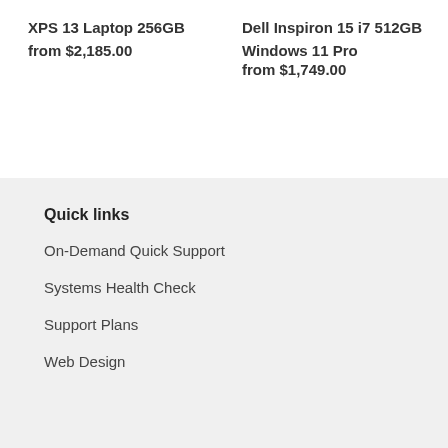XPS 13 Laptop 256GB
from $2,185.00
Dell Inspiron 15 i7 512GB
Windows 11 Pro
from $1,749.00
Quick links
On-Demand Quick Support
Systems Health Check
Support Plans
Web Design